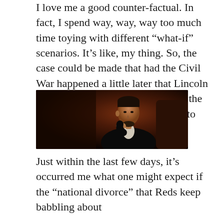I love me a good counter-factual. In fact, I spend way, way, way too much time toying with different “what-if” scenarios. It’s like, my thing. So, the case could be made that had the Civil War happened a little later that Lincoln might have lead the North leaving the Union instead of leading the fight to save it.
[Figure (photo): A painted portrait of Abraham Lincoln in a thoughtful pose, wearing a black suit and bow tie, hand raised to his chin, seated against a dark brown background.]
Just within the last few days, it’s occurred me what one might expect if the “national divorce” that Reds keep babbling about actually happened…